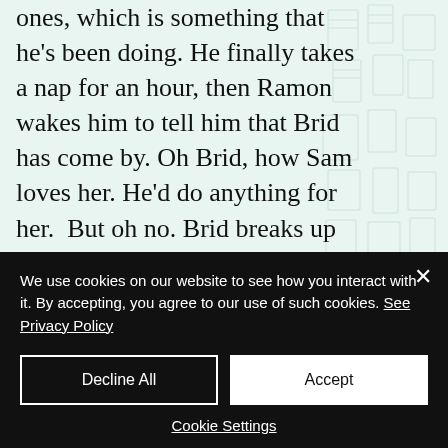ones, which is something that he's been doing. He finally takes a nap for an hour, then Ramon wakes him to tell him that Brid has come by. Oh Brid, how Sam loves her. He'd do anything for her.  But oh no. Brid breaks up with Sam. As pack leader, she has to put the pack first and what the pack needs, later for goodness sake!, is babies. Future babies, but babies. Bran stepped aside as leader because he's gay and therefore cannot produce babies and it probably wouldn't
We use cookies on our website to see how you interact with it. By accepting, you agree to our use of such cookies. See Privacy Policy
Decline All
Accept
Cookie Settings